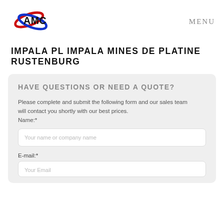[Figure (logo): AMC company logo with red and blue swoosh design around bold black AMC text]
MENU
IMPALA PL IMPALA MINES DE PLATINE RUSTENBURG
HAVE QUESTIONS OR NEED A QUOTE?
Please complete and submit the following form and our sales team
will contact you shortly with our best prices.
Name:*
Your name or company name
E-mail:*
Your Email